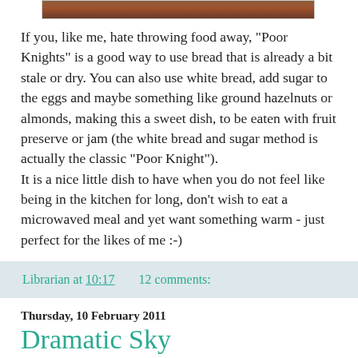[Figure (photo): Partial photo at top of page, cropped, showing food or related subject]
If you, like me, hate throwing food away, "Poor Knights" is a good way to use bread that is already a bit stale or dry. You can also use white bread, add sugar to the eggs and maybe something like ground hazelnuts or almonds, making this a sweet dish, to be eaten with fruit preserve or jam (the white bread and sugar method is actually the classic "Poor Knight").
It is a nice little dish to have when you do not feel like being in the kitchen for long, don't wish to eat a microwaved meal and yet want something warm - just perfect for the likes of me :-)
Librarian at 10:17    12 comments:
Thursday, 10 February 2011
Dramatic Sky
I have been very busy meeting friends, going out, making visits and receiving them, looking for a new (and better paid) job and doing tons of other things (such as going to work every day) that